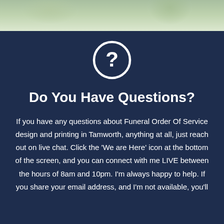[Figure (photo): Decorative photo strip at top showing green foliage and a light wooden or stone surface background]
[Figure (illustration): White circle icon containing a question mark symbol on a dark navy background]
Do You Have Questions?
If you have any questions about Funeral Order Of Service design and printing in Tamworth, anything at all, just reach out on live chat. Click the 'We are Here' icon at the bottom of the screen, and you can connect with me LIVE between the hours of 8am and 10pm. I'm always happy to help. If you share your email address, and I'm not available, you'll